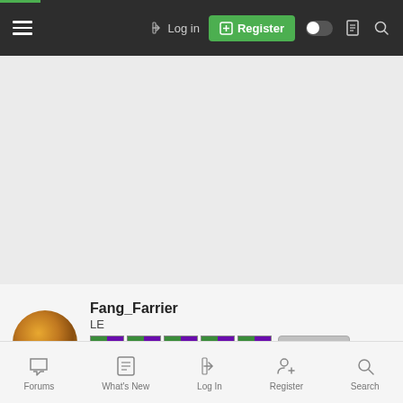[Figure (screenshot): Website top navigation bar with dark background showing hamburger menu, Log in link, green Register button, toggle, document icon, and search icon]
[Figure (photo): Gray advertisement/content area]
Fang_Farrier
LE
[Figure (illustration): User avatar (circular profile photo), medal ribbons (green and purple striped bars x5), ribbon clasps (circular medal icons x5), Kit Reviewer badge]
27 Jan 2022
#6,643
[Figure (screenshot): Bottom navigation bar with Forums, What's New, Log In, Register, and Search icons]